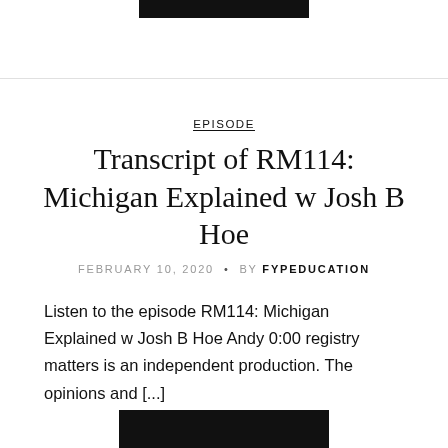EPISODE
Transcript of RM114: Michigan Explained w Josh B Hoe
FEBRUARY 10, 2020 • BY FYPEDUCATION
Listen to the episode RM114: Michigan Explained w Josh B Hoe Andy 0:00 registry matters is an independent production. The opinions and [...]
[Figure (other): Black button labeled READ MORE at the bottom of the page]